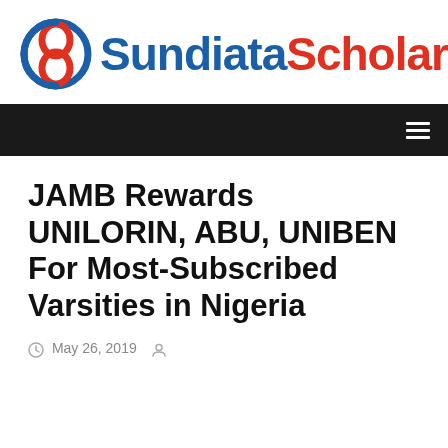[Figure (logo): Sundiata Scholar logo with stylized 8 icon in red and blue, followed by 'Sundiata' in blue bold and 'Scholar' in red bold]
navigation bar with hamburger menu icon
JAMB Rewards UNILORIN, ABU, UNIBEN For Most-Subscribed Varsities in Nigeria
May 26, 2019